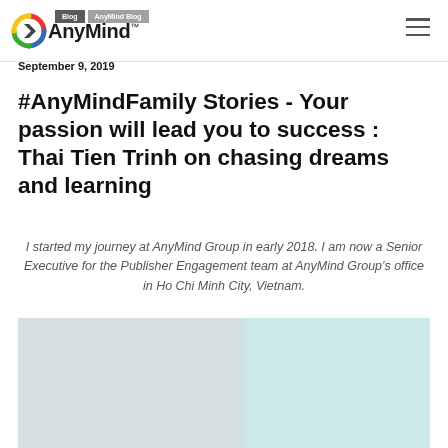AnyMind Blog - September 9, 2019
#AnyMindFamily Stories - Your passion will lead you to success : Thai Tien Trinh on chasing dreams and learning
I started my journey at AnyMind Group in early 2018. I am now a Senior Executive for the Publisher Engagement team at AnyMind Group's office in Ho Chi Minh City, Vietnam.
[Figure (photo): Photo of a person, partially visible, with a light blue/teal background on the right portion]